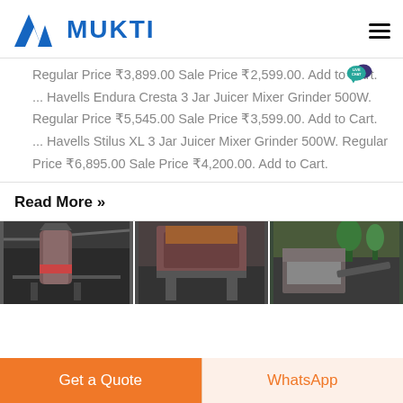MUKTI
Regular Price ₹3,899.00 Sale Price ₹2,599.00. Add to Cart. ... Havells Endura Cresta 3 Jar Juicer Mixer Grinder 500W. Regular Price ₹5,545.00 Sale Price ₹3,599.00. Add to Cart. ... Havells Stilus XL 3 Jar Juicer Mixer Grinder 500W. Regular Price ₹6,895.00 Sale Price ₹4,200.00. Add to Cart.
Read More »
[Figure (photo): Three industrial grinding/milling machines in a factory or outdoor setting — vertical mill, crusher equipment, and jaw crusher]
Get a Quote
WhatsApp